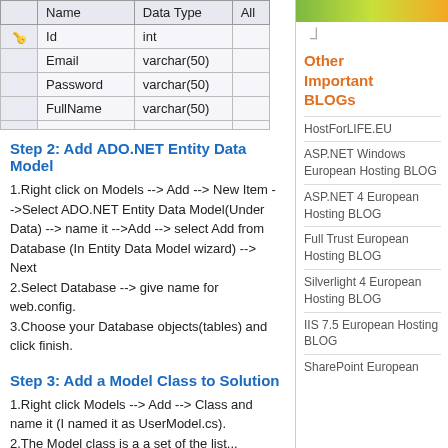|  | Name | Data Type | All |
| --- | --- | --- | --- |
| 🔑 | Id | int |  |
|  | Email | varchar(50) |  |
|  | Password | varchar(50) |  |
|  | FullName | varchar(50) |  |
|  |  |  |  |
Step 2: Add ADO.NET Entity Data Model
1.Right click on Models --> Add --> New Item -->Select ADO.NET Entity Data Model(Under Data) --> name it -->Add --> select Add from Database (In Entity Data Model wizard) --> Next
2.Select Database --> give name for web.config.
3.Choose your Database objects(tables) and click finish.
Step 3: Add a Model Class to Solution
1.Right click Models --> Add --> Class and name it (I named it as UserModel.cs).
2.The Model class is a a set of the list...
Other Important BLOGs
HostForLIFE.EU
ASP.NET Windows European Hosting BLOG
ASP.NET 4 European Hosting BLOG
Full Trust European Hosting BLOG
Silverlight 4 European Hosting BLOG
IIS 7.5 European Hosting BLOG
SharePoint European